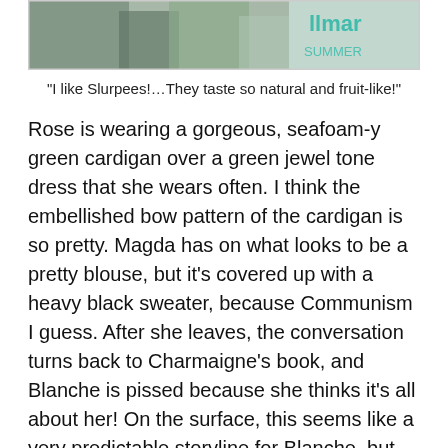[Figure (photo): Cropped photo showing people at what appears to be an event or store, with teal/green text visible on the right side.]
“I like Slurpees!…They taste so natural and fruit-like!”
Rose is wearing a gorgeous, seafoam-y green cardigan over a green jewel tone dress that she wears often. I think the embellished bow pattern of the cardigan is so pretty. Magda has on what looks to be a pretty blouse, but it’s covered up with a heavy black sweater, because Communism I guess. After she leaves, the conversation turns back to Charmaigne’s book, and Blanche is pissed because she thinks it’s all about her! On the surface, this seems like a very predictable storyline for Blanche, but the rest of the story